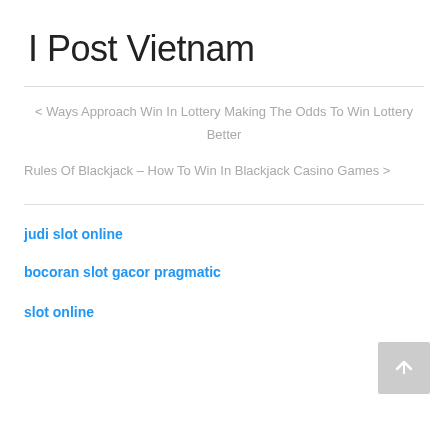I Post Vietnam
< Ways Approach Win In Lottery Making The Odds To Win Lottery Better
Rules Of Blackjack – How To Win In Blackjack Casino Games >
judi slot online
bocoran slot gacor pragmatic
slot online